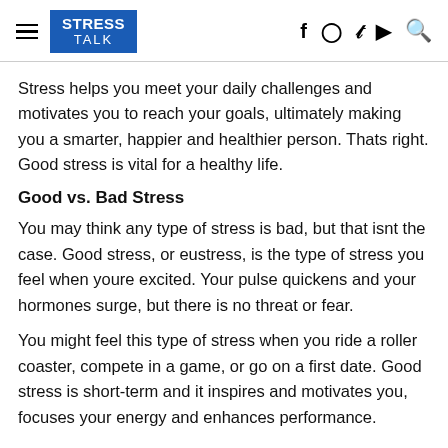STRESS TALK
Stress helps you meet your daily challenges and motivates you to reach your goals, ultimately making you a smarter, happier and healthier person. Thats right. Good stress is vital for a healthy life.
Good vs. Bad Stress
You may think any type of stress is bad, but that isnt the case. Good stress, or eustress, is the type of stress you feel when youre excited. Your pulse quickens and your hormones surge, but there is no threat or fear.
You might feel this type of stress when you ride a roller coaster, compete in a game, or go on a first date. Good stress is short-term and it inspires and motivates you, focuses your energy and enhances performance.